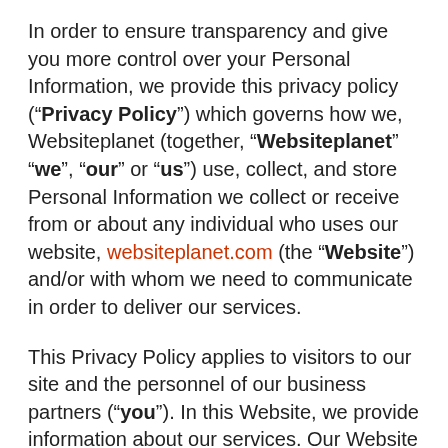In order to ensure transparency and give you more control over your Personal Information, we provide this privacy policy (“Privacy Policy”) which governs how we, Websiteplanet (together, “Websiteplanet” “we”, “our” or “us”) use, collect, and store Personal Information we collect or receive from or about any individual who uses our website, websiteplanet.com (the “Website”) and/or with whom we need to communicate in order to deliver our services.
This Privacy Policy applies to visitors to our site and the personnel of our business partners (“you”). In this Website, we provide information about our services. Our Website provides reviews about vendors in the tech field. If you are a visitor to our Website, you do not need to register to our Website in order to read the reviews; and we do not require you to provide us with your contact information such as your name, email, etc. You are required to provide your name and email only if you wish to write a review. Otherwise, we will only collect